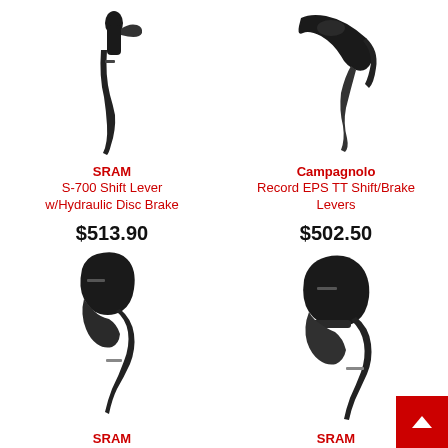[Figure (photo): SRAM S-700 Shift Lever with Hydraulic Disc Brake product photo, black lever on white background]
SRAM
S-700 Shift Lever w/Hydraulic Disc Brake
$513.90
[Figure (photo): Campagnolo Record EPS TT Shift/Brake Levers product photo, black lever on white background]
Campagnolo
Record EPS TT Shift/Brake Levers
$502.50
[Figure (photo): SRAM Force CX1 Hydraulic Brake lever product photo, black lever on white background]
SRAM
Force CX1 Hydraulic Brake
[Figure (photo): SRAM APEX 1 HRD Shift/Brake lever product photo, black lever on white background]
SRAM
APEX 1 HRD Shift/Brake